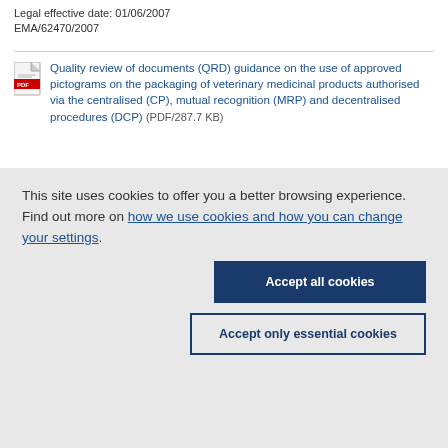Legal effective date: 01/06/2007
EMA/62470/2007
Quality review of documents (QRD) guidance on the use of approved pictograms on the packaging of veterinary medicinal products authorised via the centralised (CP), mutual recognition (MRP) and decentralised procedures (DCP) (PDF/287.7 KB)
This site uses cookies to offer you a better browsing experience. Find out more on how we use cookies and how you can change your settings.
Accept all cookies
Accept only essential cookies